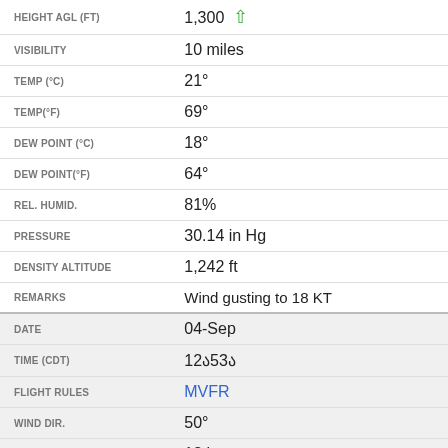| Field | Value |
| --- | --- |
| HEIGHT AGL (FT) | 1,300 ↑ |
| VISIBILITY | 10 miles |
| TEMP (°C) | 21° |
| TEMP(°F) | 69° |
| DEW POINT (°C) | 18° |
| DEW POINT(°F) | 64° |
| REL. HUMID. | 81% |
| PRESSURE | 30.14 in Hg |
| DENSITY ALTITUDE | 1,242 ft |
| REMARKS | Wind gusting to 18 KT |
| DATE | 04-Sep |
| TIME (CDT) | 12᎐53᎐ |
| FLIGHT RULES | MVFR |
| WIND DIR. | 50° |
| SPEED | 12 kt |
| TYPE | Overcast |
| HEIGHT AGL (FT) | 1,200 ↑ |
| VISIBILITY | 10 miles |
| TEMP (°C) | 22° |
| TEMP(°F) | 71° |
| DEW POINT (°C) | 18° |